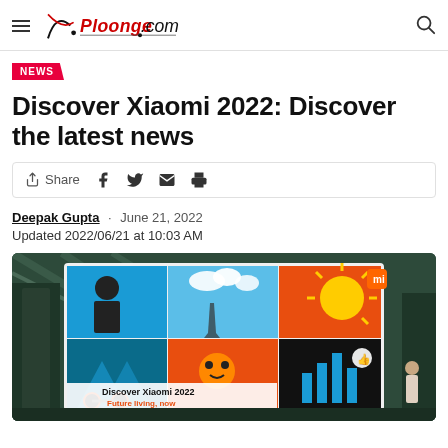Ploonge.com
NEWS
Discover Xiaomi 2022: Discover the latest news
Share
Deepak Gupta · June 21, 2022
Updated 2022/06/21 at 10:03 AM
[Figure (photo): Large LED screen displaying Xiaomi 2022 event artwork with colorful geometric illustrations including a person, Eiffel Tower, clouds, sun, and mascot characters. Text reads 'Discover Xiaomi 2022 Future living, now'. Photo taken inside a large hall with glass ceiling.]